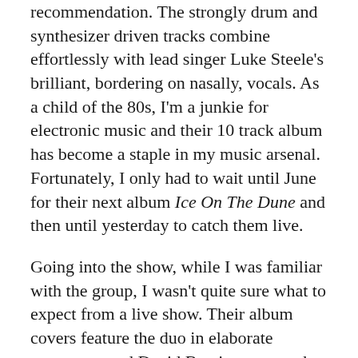recommendation. The strongly drum and synthesizer driven tracks combine effortlessly with lead singer Luke Steele's brilliant, bordering on nasally, vocals. As a child of the 80s, I'm a junkie for electronic music and their 10 track album has become a staple in my music arsenal. Fortunately, I only had to wait until June for their next album Ice On The Dune and then until yesterday to catch them live.
Going into the show, while I was familiar with the group, I wasn't quite sure what to expect from a live show. Their album covers feature the duo in elaborate costumery and David Bowie-esque make up, surrounded by landscapes and creatures straight out of Dune or the Ursula K. Le Guin novel The Left Hand of Darkness; the covers could easily be Labirynth or Legend or The Dark Crystal movie poster rejects, and their music videos continue this motif, especially their latest track "Alive." All of this plus pictures of their U.S. tour, which just kicked off, had me definitely expecting a fair amount of pagentry, but as soon as the